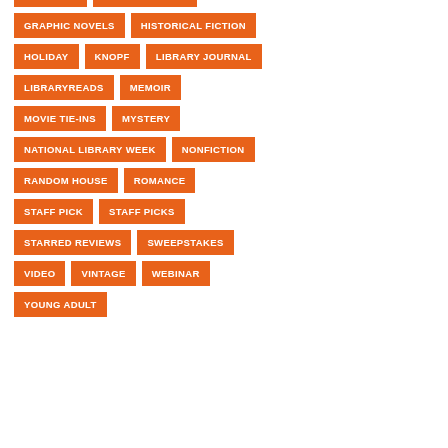GIVEAWAY
GRAPHIC NOVEL
GRAPHIC NOVELS
HISTORICAL FICTION
HOLIDAY
KNOPF
LIBRARY JOURNAL
LIBRARYREADS
MEMOIR
MOVIE TIE-INS
MYSTERY
NATIONAL LIBRARY WEEK
NONFICTION
RANDOM HOUSE
ROMANCE
STAFF PICK
STAFF PICKS
STARRED REVIEWS
SWEEPSTAKES
VIDEO
VINTAGE
WEBINAR
YOUNG ADULT